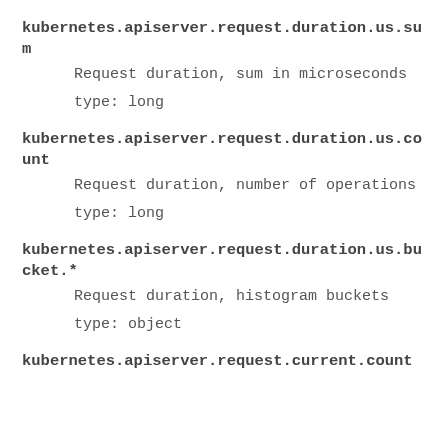kubernetes.apiserver.request.duration.us.sum
Request duration, sum in microseconds
type: long
kubernetes.apiserver.request.duration.us.count
Request duration, number of operations
type: long
kubernetes.apiserver.request.duration.us.bucket.*
Request duration, histogram buckets
type: object
kubernetes.apiserver.request.current.count